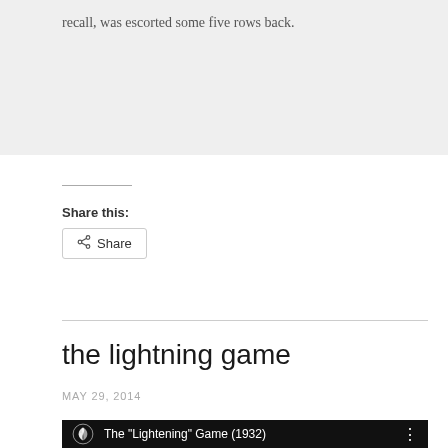recall, was escorted some five rows back.
Share this:
Share
the lightning game
MAY 29, 2014
[Figure (screenshot): Video thumbnail showing The "Lightening" Game (1932) with a swan logo on a black background]